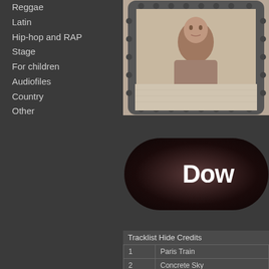Reggae
Latin
Hip-hop and RAP
Stage
For children
Audiofiles
Country
Other
[Figure (photo): Album cover photo showing a person looking through a window with a riveted frame border]
[Figure (other): Dark rounded button with text 'Dow' (Download button, partially visible)]
Tracklist Hide Credits
| 1 | Paris Train |
| 2 | Concrete Sky |